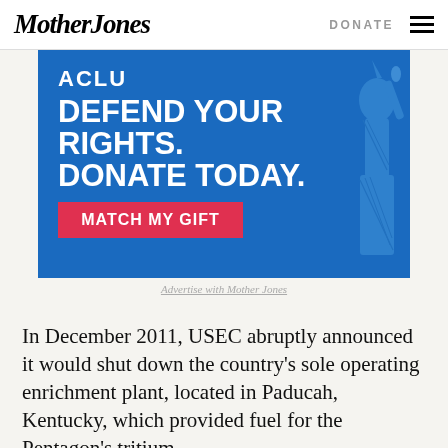Mother Jones | DONATE
[Figure (other): ACLU advertisement banner with blue background, Statue of Liberty image, text: ACLU DEFEND YOUR RIGHTS. DONATE TODAY. with a red MATCH MY GIFT button]
Advertise with Mother Jones
In December 2011, USEC abruptly announced it would shut down the country's sole operating enrichment plant, located in Paducah, Kentucky, which provided fuel for the Pentagon's tritium